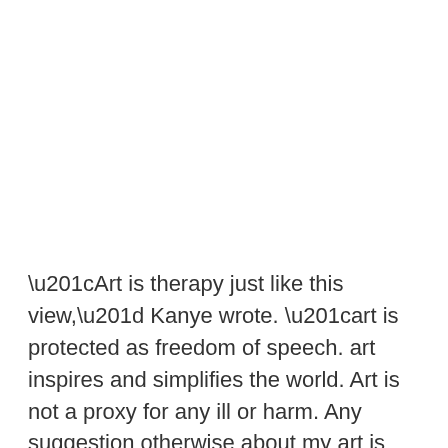“Art is therapy just like this view,” Kanye wrote. “art is protected as freedom of speech. art inspires and simplifies the world. Art is not a proxy for any ill or harm. Any suggestion otherwise about my art is false and mal intended 👏”